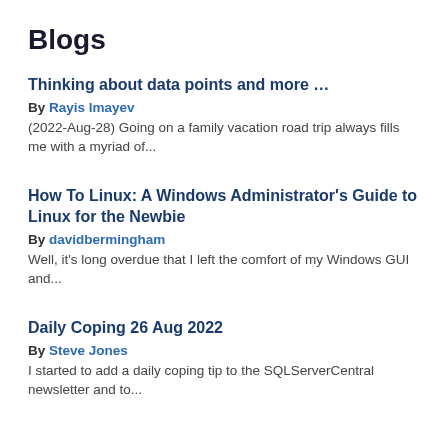Blogs
Thinking about data points and more …
By Rayis Imayev
(2022-Aug-28) Going on a family vacation road trip always fills me with a myriad of...
How To Linux: A Windows Administrator's Guide to Linux for the Newbie
By davidbermingham
Well, it's long overdue that I left the comfort of my Windows GUI and...
Daily Coping 26 Aug 2022
By Steve Jones
I started to add a daily coping tip to the SQLServerCentral newsletter and to...